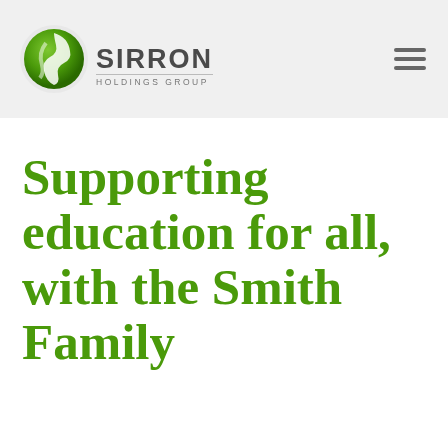[Figure (logo): Sirron Holdings Group logo with green globe icon and company name]
Supporting education for all, with the Smith Family